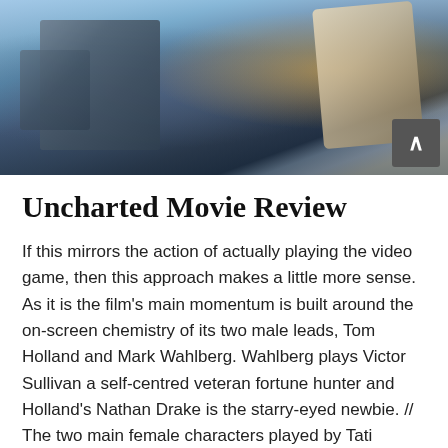[Figure (photo): Movie still from Uncharted showing a person in action mid-air with flying crates/boxes and sparks/explosions in the background against a blue sky]
Uncharted Movie Review
If this mirrors the action of actually playing the video game, then this approach makes a little more sense. As it is the film's main momentum is built around the on-screen chemistry of its two male leads, Tom Holland and Mark Wahlberg. Wahlberg plays Victor Sullivan a self-centred veteran fortune hunter and Holland's Nathan Drake is the starry-eyed newbie.  //  The two main female characters played by Tati Gabrielle and Sophia Ali are not given that much to do but ...